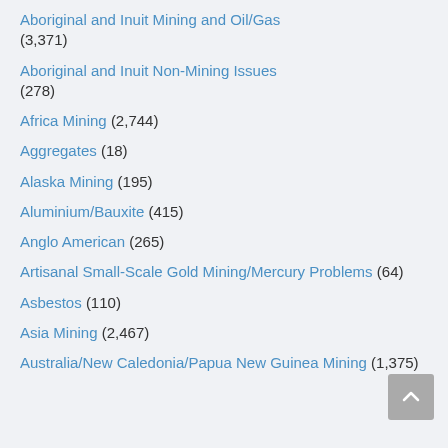Aboriginal and Inuit Mining and Oil/Gas (3,371)
Aboriginal and Inuit Non-Mining Issues (278)
Africa Mining (2,744)
Aggregates (18)
Alaska Mining (195)
Aluminium/Bauxite (415)
Anglo American (265)
Artisanal Small-Scale Gold Mining/Mercury Problems (64)
Asbestos (110)
Asia Mining (2,467)
Australia/New Caledonia/Papua New Guinea Mining (1,375)